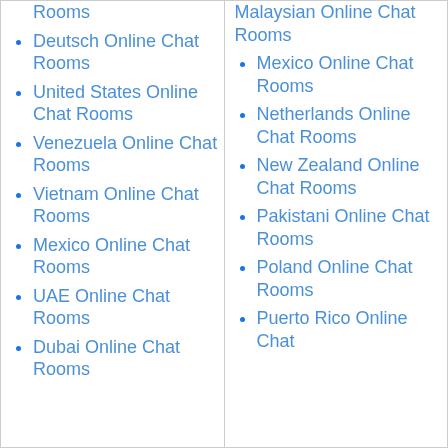Online Chat Rooms (partial, top of left column)
Deutsch Online Chat Rooms
United States Online Chat Rooms
Venezuela Online Chat Rooms
Vietnam Online Chat Rooms
Mexico Online Chat Rooms
UAE Online Chat Rooms
Dubai Online Chat Rooms
Malaysian Online Chat Rooms (partial, top of right column)
Mexico Online Chat Rooms
Netherlands Online Chat Rooms
New Zealand Online Chat Rooms
Pakistani Online Chat Rooms
Poland Online Chat Rooms
Puerto Rico Online Chat (partial, bottom of right column)